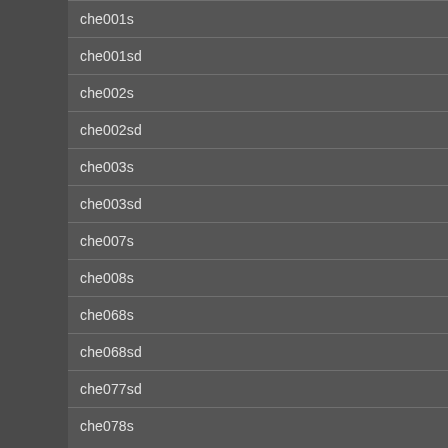che001s
che001sd
che002s
che002sd
che003s
che003sd
che007s
che008s
che068s
che068sd
che077sd
che078s